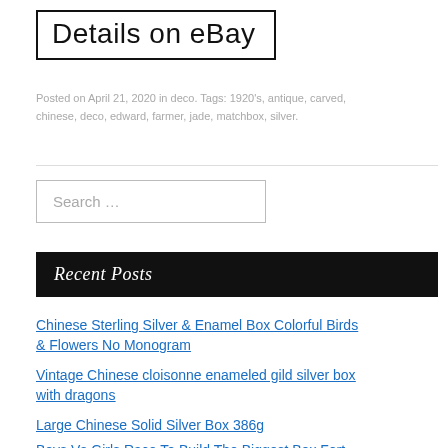Details on eBay
Posted on April 21, 2020 in deco. Tags: 1920's, antique, carved, chinese, deco, edward, farmer, jade, matchbox, silver.
Search …
Recent Posts
Chinese Sterling Silver & Enamel Box Colorful Birds & Flowers No Monogram
Vintage Chinese cloisonne enameled gild silver box with dragons
Large Chinese Solid Silver Box 386g
Boys Vs Girls Race To Build The Biggest Box Fort